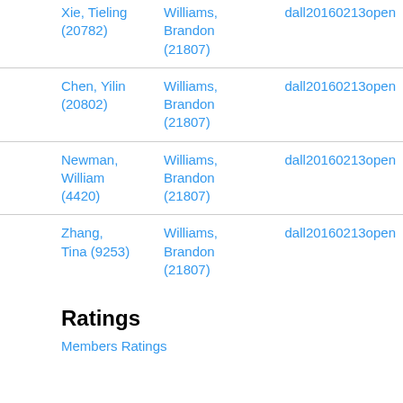| Person | Assigned To | File |
| --- | --- | --- |
| Xie, Tieling (20782) | Williams, Brandon (21807) | dall20160213open |
| Chen, Yilin (20802) | Williams, Brandon (21807) | dall20160213open |
| Newman, William (4420) | Williams, Brandon (21807) | dall20160213open |
| Zhang, Tina (9253) | Williams, Brandon (21807) | dall20160213open |
Ratings
Members Ratings